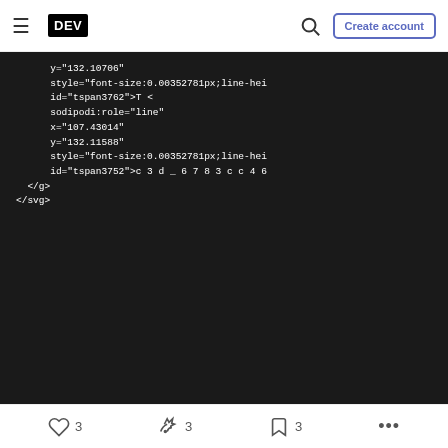DEV — Create account
[Figure (screenshot): Dark-themed code block showing SVG/XML source code with tspan elements and sodipodi attributes]
3 likes  3 unicorns  3 bookmarks  ...